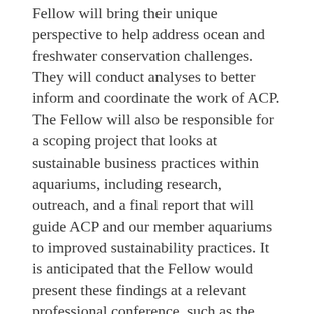Fellow will bring their unique perspective to help address ocean and freshwater conservation challenges. They will conduct analyses to better inform and coordinate the work of ACP. The Fellow will also be responsible for a scoping project that looks at sustainable business practices within aquariums, including research, outreach, and a final report that will guide ACP and our member aquariums to improved sustainability practices. It is anticipated that the Fellow would present these findings at a relevant professional conference, such as the Association of Zoos and Aquariums Annual Conference. This will provide the opportunity for the Fellow to develop, with mentoring and management, a specific project to support conservation priorities and will allow the Fellow to gain deeper understanding and show leadership on specific projects.
The Fellow will need to bring a keen interest in conservation, good communication skills, ability to work